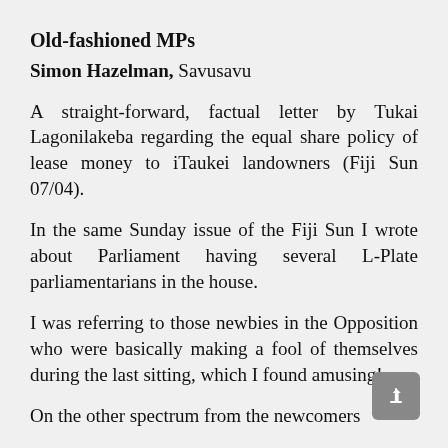Old-fashioned MPs
Simon Hazelman, Savusavu
A straight-forward, factual letter by Tukai Lagonilakeba regarding the equal share policy of lease money to iTaukei landowners (Fiji Sun 07/04).
In the same Sunday issue of the Fiji Sun I wrote about Parliament having several L-Plate parliamentarians in the house.
I was referring to those newbies in the Opposition who were basically making a fool of themselves during the last sitting, which I found amusing!
On the other spectrum from the newcomers